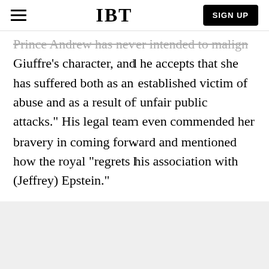IBT | SIGN UP
Prince Andrew has never intended to malign Ms. Giuffre's character, and he accepts that she has suffered both as an established victim of abuse and as a result of unfair public attacks." His legal team even commended her bravery in coming forward and mentioned how the royal "regrets his association with (Jeffrey) Epstein."